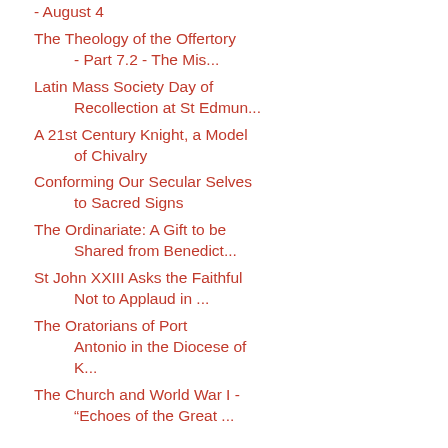- August 4
The Theology of the Offertory - Part 7.2 - The Mis...
Latin Mass Society Day of Recollection at St Edmun...
A 21st Century Knight, a Model of Chivalry
Conforming Our Secular Selves to Sacred Signs
The Ordinariate: A Gift to be Shared from Benedict...
St John XXIII Asks the Faithful Not to Applaud in ...
The Oratorians of Port Antonio in the Diocese of K...
The Church and World War I - "Echoes of the Great ...